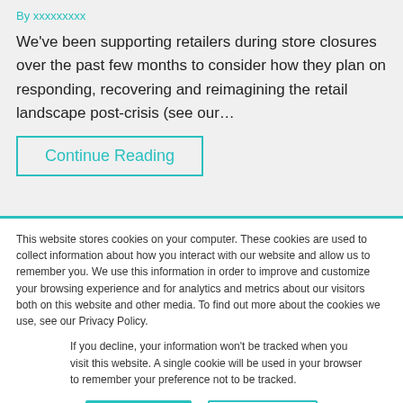We've been supporting retailers during store closures over the past few months to consider how they plan on responding, recovering and reimagining the retail landscape post-crisis (see our…
Continue Reading
This website stores cookies on your computer. These cookies are used to collect information about how you interact with our website and allow us to remember you. We use this information in order to improve and customize your browsing experience and for analytics and metrics about our visitors both on this website and other media. To find out more about the cookies we use, see our Privacy Policy.
If you decline, your information won't be tracked when you visit this website. A single cookie will be used in your browser to remember your preference not to be tracked.
Accept
Decline